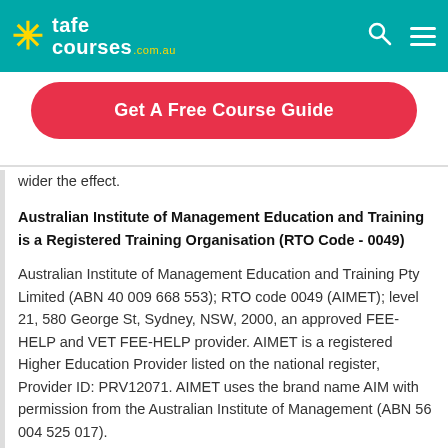tafecourses.com.au
[Figure (other): Get A Free Course Guide button - red rounded rectangle CTA button]
wider the effect.
Australian Institute of Management Education and Training is a Registered Training Organisation (RTO Code - 0049)
Australian Institute of Management Education and Training Pty Limited (ABN 40 009 668 553); RTO code 0049 (AIMET); level 21, 580 George St, Sydney, NSW, 2000, an approved FEE-HELP and VET FEE-HELP provider. AIMET is a registered Higher Education Provider listed on the national register, Provider ID: PRV12071. AIMET uses the brand name AIM with permission from the Australian Institute of Management (ABN 56 004 525 017).